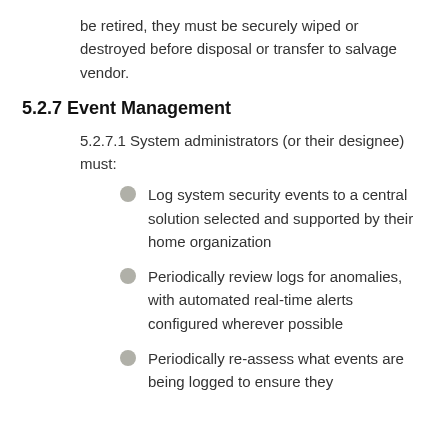be retired, they must be securely wiped or destroyed before disposal or transfer to salvage vendor.
5.2.7 Event Management
5.2.7.1 System administrators (or their designee) must:
Log system security events to a central solution selected and supported by their home organization
Periodically review logs for anomalies, with automated real-time alerts configured wherever possible
Periodically re-assess what events are being logged to ensure they